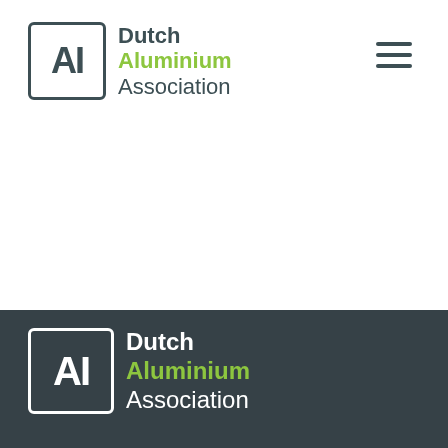[Figure (logo): Dutch Aluminium Association logo in header: square box with 'AI' text in dark grey, followed by 'Dutch' in dark grey, 'Aluminium' in green, 'Association' in dark grey]
[Figure (other): Hamburger menu icon (three horizontal lines) in dark grey, top right of header]
[Figure (logo): Dutch Aluminium Association logo in dark footer: square box with 'AI' in white on dark background, followed by 'Dutch' in white, 'Aluminium' in green, 'Association' in white]